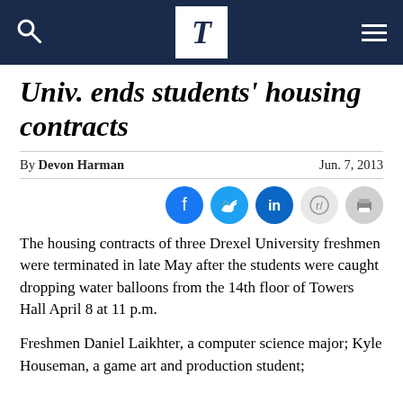T
Univ. ends students' housing contracts
By Devon Harman   Jun. 7, 2013
The housing contracts of three Drexel University freshmen were terminated in late May after the students were caught dropping water balloons from the 14th floor of Towers Hall April 8 at 11 p.m.
Freshmen Daniel Laikhter, a computer science major; Kyle Houseman, a game art and production student;